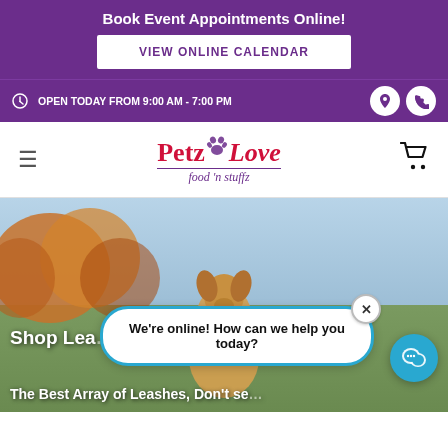Book Event Appointments Online!
VIEW ONLINE CALENDAR
⊙ OPEN TODAY FROM 9:00 AM - 7:00 PM
[Figure (logo): PetzLove food 'n stuffz logo with paw print icon, red and purple cursive text]
[Figure (photo): Outdoor hero image with a dog and blurred autumn trees in background, overlaid text reading 'Shop Lea... Lo...' and 'Tree The Best Array of Leashes, Don't se...']
We're online! How can we help you today?
Shop Lea... Lo...
The Best Array of Leashes, Don't se...